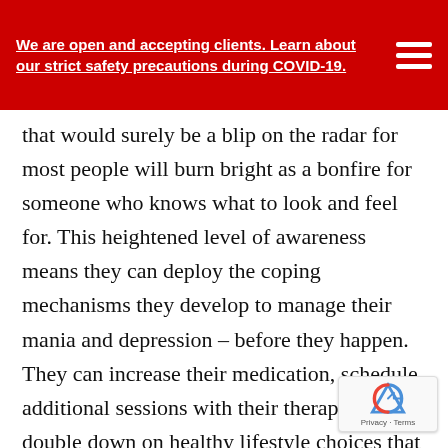We are open and accepting clients. Learn about our strict safety precautions during COVID-19.
that would surely be a blip on the radar for most people will burn bright as a bonfire for someone who knows what to look and feel for. This heightened level of awareness means they can deploy the coping mechanisms they develop to manage their mania and depression – before they happen. They can increase their medication, schedule additional sessions with their therapist, or double down on healthy lifestyle choices that keep them on track.

That's why it's important for parents of bipolar teens to work alongside both their teen and their teen's therapist to identify triggers, create strategies